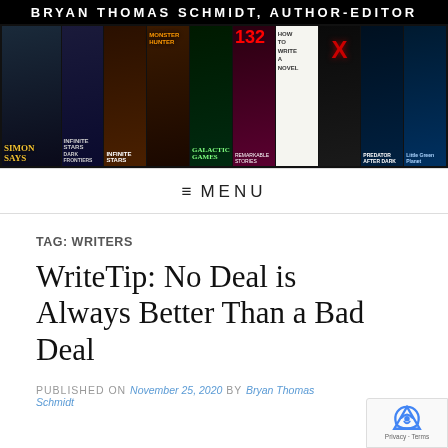BRYAN THOMAS SCHMIDT, AUTHOR-EDITOR
[Figure (illustration): A collage banner of book covers by Bryan Thomas Schmidt including Simon Says, Infinite Stars, Monster Hunter, Galactic Games, and others against a dark background]
≡ MENU
TAG: WRITERS
WriteTip: No Deal is Always Better Than a Bad Deal
PUBLISHED ON November 25, 2020 by Bryan Thomas Schmidt